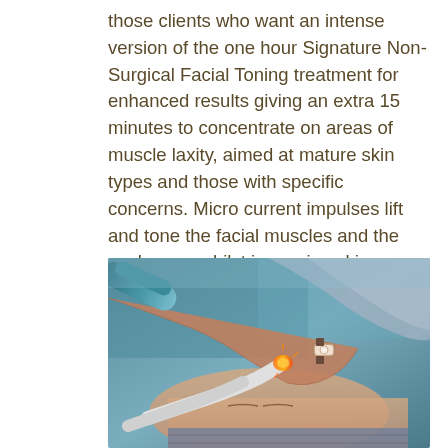those clients who want an intense version of the one hour Signature Non- Surgical Facial Toning treatment for enhanced results giving an extra 15 minutes to concentrate on areas of muscle laxity, aimed at mature skin types and those with specific concerns. Micro current impulses lift and tone the facial muscles and the neck area, whilst improving skin elasticity and reducing the appearance of lines and wrinkles. Giving a more youthful, fresh appearance and glow.
[Figure (photo): A practitioner using a microcurrent facial toning device on a client's face. The practitioner's hands are visible holding the device near the client's face. The client is lying down with eyes closed. The practitioner is wearing a watch and a light grey top.]